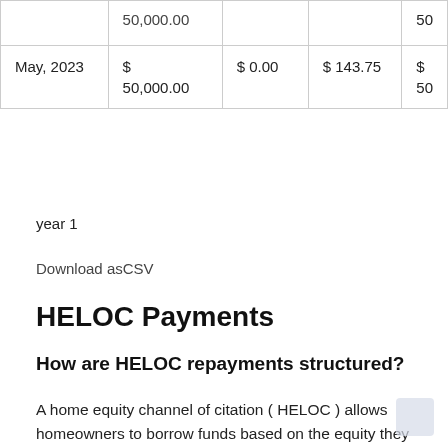|  |  | $ 0.00 | $ 143.75 | $ |
| --- | --- | --- | --- | --- |
|  | 50,000.00 |  |  | 50 |
| May, 2023 | $ 50,000.00 | $ 0.00 | $ 143.75 | $ 50 |
year 1
Download asCSV
HELOC Payments
How are HELOC repayments structured?
A home equity channel of citation ( HELOC ) allows homeowners to borrow funds based on the equity they own in the base. Your HELOC terminus ad